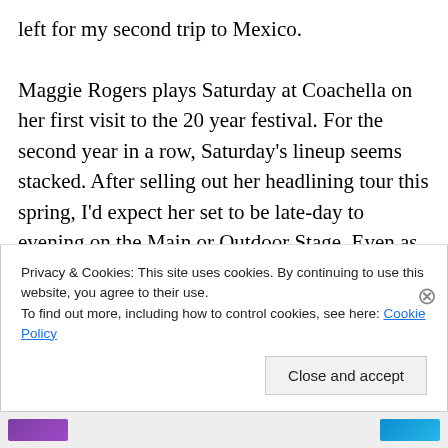left for my second trip to Mexico.

Maggie Rogers plays Saturday at Coachella on her first visit to the 20 year festival. For the second year in a row, Saturday's lineup seems stacked. After selling out her headlining tour this spring, I'd expect her set to be late-day to evening on the Main or Outdoor Stage. Even as a Coachella debut artist, I expect her set to be packed. Regardless of the time or place, I'd get there early for a good spot. I need to listen to more Maggie Rogers just as much as you might at this point, so here's what I've been
Privacy & Cookies: This site uses cookies. By continuing to use this website, you agree to their use.
To find out more, including how to control cookies, see here: Cookie Policy